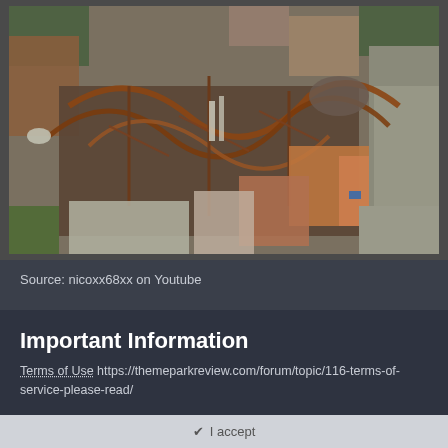[Figure (photo): Aerial drone view of an amusement/theme park showing roller coasters, industrial-looking structures, rooftops of surrounding urban buildings, streets and parking areas visible on the right side. Photo taken from above.]
Source: nicoxx68xx on Youtube
Important Information
Terms of Use https://themeparkreview.com/forum/topic/116-terms-of-service-please-read/
✓  I accept